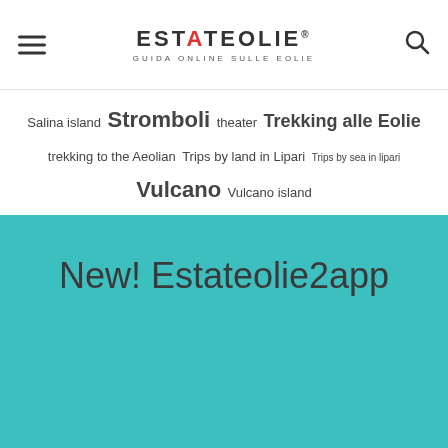ESTATEOLIE® GUIDA ONLINE SULLE EOLIE
Salina island Stromboli theater Trekking alle Eolie trekking to the Aeolian Trips by land in Lipari Trips by sea in lipari Vulcano Vulcano island
New! Estateolie2app